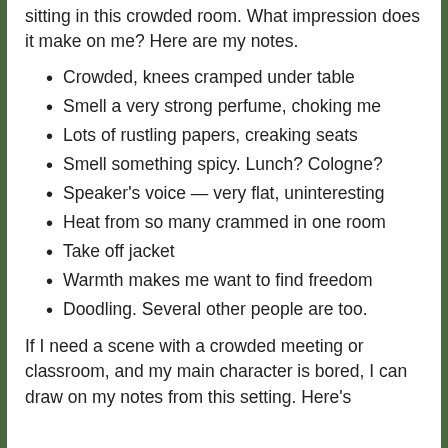sitting in this crowded room. What impression does it make on me? Here are my notes.
Crowded, knees cramped under table
Smell a very strong perfume, choking me
Lots of rustling papers, creaking seats
Smell something spicy. Lunch? Cologne?
Speaker's voice — very flat, uninteresting
Heat from so many crammed in one room
Take off jacket
Warmth makes me want to find freedom
Doodling. Several other people are too.
If I need a scene with a crowded meeting or classroom, and my main character is bored, I can draw on my notes from this setting. Here's